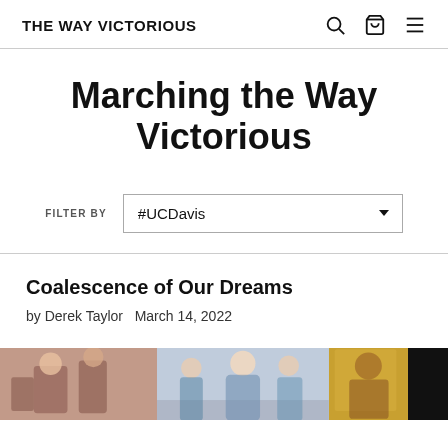THE WAY VICTORIOUS
Marching the Way Victorious
FILTER BY #UCDavis
Coalescence of Our Dreams
by Derek Taylor   March 14, 2022
[Figure (photo): A collage of three photos showing classroom and educational scenes with students and teachers, plus a dark panel on the right.]